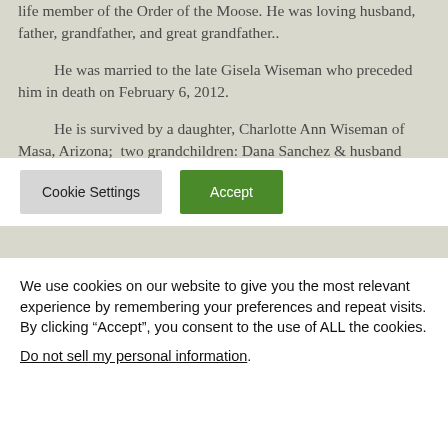life member of the Order of the Moose. He was loving husband, father, grandfather, and great grandfather..
He was married to the late Gisela Wiseman who preceded him in death on February 6, 2012.
He is survived by a daughter, Charlotte Ann Wiseman of Masa, Arizona;  two grandchildren: Dana Sanchez & husband Tony of Chandler, Arizona and Rena Lynn Altizer of Phoenix, Arizona; eight great grandchildren; a step-daughter, Dagmar Saar of
We use cookies on our website to give you the most relevant experience by remembering your preferences and repeat visits. By clicking “Accept”, you consent to the use of ALL the cookies.
Do not sell my personal information.